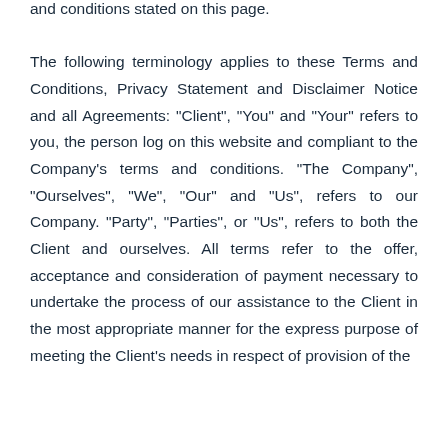and conditions stated on this page. The following terminology applies to these Terms and Conditions, Privacy Statement and Disclaimer Notice and all Agreements: "Client", "You" and "Your" refers to you, the person log on this website and compliant to the Company's terms and conditions. "The Company", "Ourselves", "We", "Our" and "Us", refers to our Company. "Party", "Parties", or "Us", refers to both the Client and ourselves. All terms refer to the offer, acceptance and consideration of payment necessary to undertake the process of our assistance to the Client in the most appropriate manner for the express purpose of meeting the Client's needs in respect of provision of the